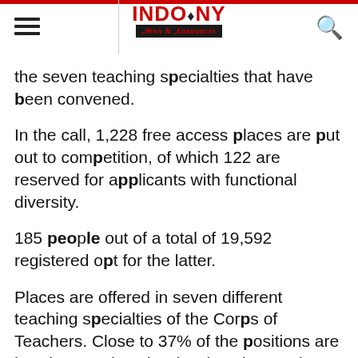INDO & NY News & Announces
the seven teaching specialties that have been convened.
In the call, 1,228 free access places are put out to competition, of which 122 are reserved for applicants with functional diversity.
185 people out of a total of 19,592 registered opt for the latter.
Places are offered in seven different teaching specialties of the Corps of Teachers. Close to 37% of the positions are in Primary Education (453) and around 32% in Early Childhood Education (388). Next, 11% of the places correspond to Therapeutic Pedagogy (PT) with 132 positions, and with 10% of the places English (128). There are also 62 Hearing